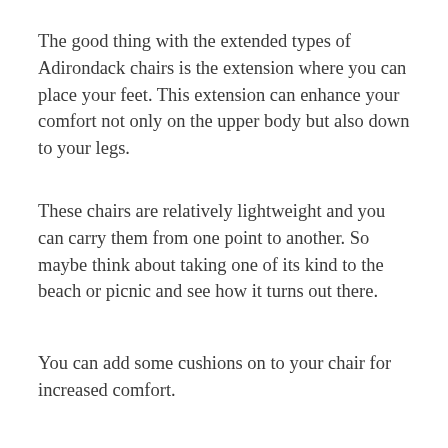The good thing with the extended types of Adirondack chairs is the extension where you can place your feet. This extension can enhance your comfort not only on the upper body but also down to your legs.
These chairs are relatively lightweight and you can carry them from one point to another. So maybe think about taking one of its kind to the beach or picnic and see how it turns out there.
You can add some cushions on to your chair for increased comfort.